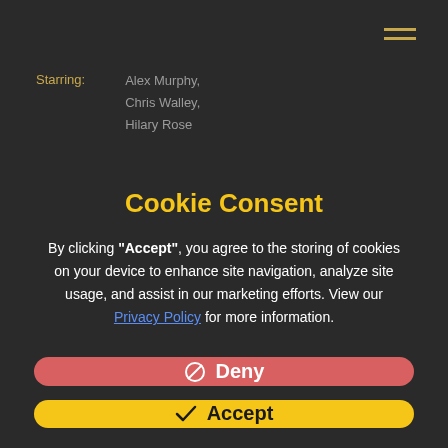[Figure (illustration): Hamburger menu icon — two horizontal yellow lines in top-right corner]
Starring: Alex Murphy, Chris Walley, Hilary Rose
Cookie Consent
By clicking "Accept", you agree to the storing of cookies on your device to enhance site navigation, analyze site usage, and assist in our marketing efforts. View our Privacy Policy for more information.
⊘ Deny
✓ Accept